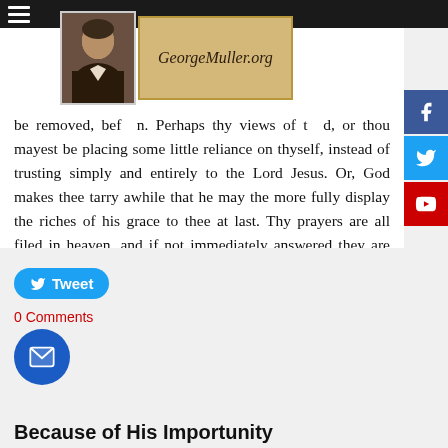[Figure (logo): GeorgeMuller.org website logo with portrait photo and stylized text on tan background]
be removed, bef... n. Perhaps thy views of t... d, or thou mayest be placing some little reliance on thyself, instead of trusting simply and entirely to the Lord Jesus. Or, God makes thee tarry awhile that he may the more fully display the riches of his grace to thee at last. Thy prayers are all filed in heaven, and if not immediately answered they are certainly not forgotten, but in a little while shall be fulfilled to thy delight and satisfaction. Let not despair make thee silent, but continue instant in earnest supplication.
[Figure (screenshot): Tweet button (blue rounded rectangle with Twitter bird icon)]
0 Comments
[Figure (other): Blue circular email/message button with envelope icon]
Because of His Importunity